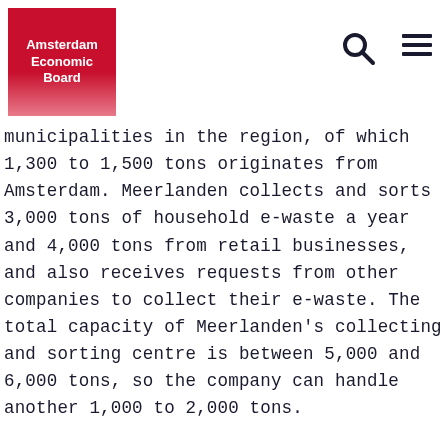Amsterdam Economic Board
municipalities in the region, of which 1,300 to 1,500 tons originates from Amsterdam. Meerlanden collects and sorts 3,000 tons of household e-waste a year and 4,000 tons from retail businesses, and also receives requests from other companies to collect their e-waste. The total capacity of Meerlanden's collecting and sorting centre is between 5,000 and 6,000 tons, so the company can handle another 1,000 to 2,000 tons.
The equipment is sorted into 24 different streams, including refrigerators, IT equipment, large domestic appliances, solar panels, televisions, various kinds of light bulbs, telephones and cables.